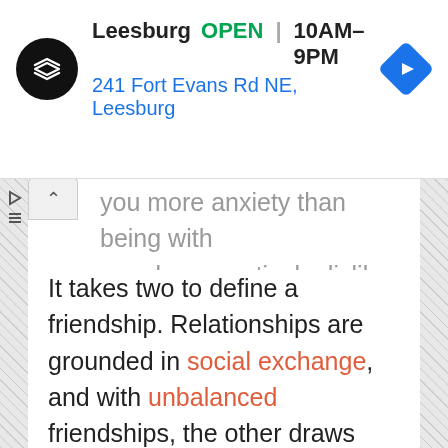[Figure (screenshot): Ad banner showing a store location: Leesburg, OPEN, 10AM-9PM, 241 Fort Evans Rd NE, Leesburg, with a black circular logo and a blue navigation diamond icon]
you more anxiety than being with people you actively dislike.
It takes two to define a friendship. Relationships are grounded in social exchange, and with unbalanced friendships, the other draws more from the “friendship bank” over time than they care to put into it. If you’ve set clear expectations and boundaries, and the other isn’t consistently sticking to them, perhaps it’s time to re-evaluate your